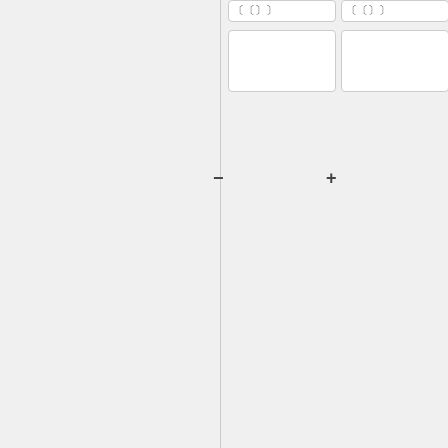〔〔〕
〔〔〕
:*〔〕〔〕〔〕〔〕〔〕〔〕
〔〕〔〕〔〕〔〕
===4-1-1-5〔〕〔〕〔〕〔〕〔〕〔〕〔〕〔〕〔〕〔〕〔〕〔〕〔〕〔〕===
::
[http://wiki.shjhs.tn.edu.tw/images/f/ff/102%E5%B9%B4%E7%8D%8E%E5%8A%A9%E5%AD%B8%E9%87%91.pdf 102〔〕〔〕〔〕〔〕〔〕
::
[http://wiki.shjhs.tn.edu.tw/images/f/ff/102%E5%B9%B4%E7%8D%8E%E5%8A%A9%E5%AD%B8%E9%87%91.pdf 102〔〕〔〕〔〕〔〕〔〕